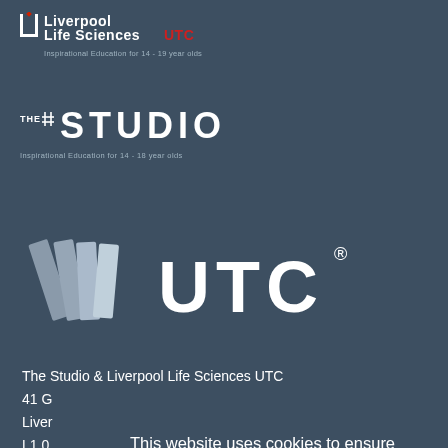[Figure (logo): Liverpool Life Sciences UTC logo with U-shape icon and red UTC text, tagline: Inspirational Education for 14 - 19 year olds]
[Figure (logo): The Studio logo with hash grid icon and large STUDIO text, tagline: Inspirational Education for 14 - 18 year olds]
[Figure (logo): UTC logo with grey feather/book icons and large bold UTC with registered trademark symbol]
The Studio & Liverpool Life Sciences UTC
41 G
Liver
L1 0
Rece
Ema
This website uses cookies to ensure you get the best experience on our website.
Learn More
Got it